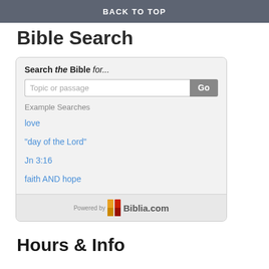BACK TO TOP
Bible Search
[Figure (other): Bible search widget with text input, Go button, example searches (love, "day of the Lord", Jn 3:16, faith AND hope), and Powered by Biblia.com footer logo]
Hours & Info
Humphrey Park Community Centre
Humphrey Lane
Urmston